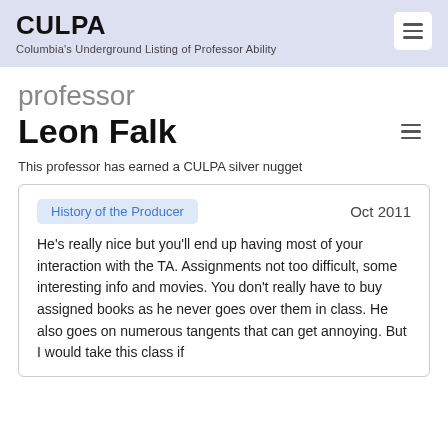CULPA
Columbia's Underground Listing of Professor Ability
professor
Leon Falk
This professor has earned a CULPA silver nugget
History of the Producer    Oct 2011
He's really nice but you'll end up having most of your interaction with the TA. Assignments not too difficult, some interesting info and movies. You don't really have to buy assigned books as he never goes over them in class. He also goes on numerous tangents that can get annoying. But I would take this class if